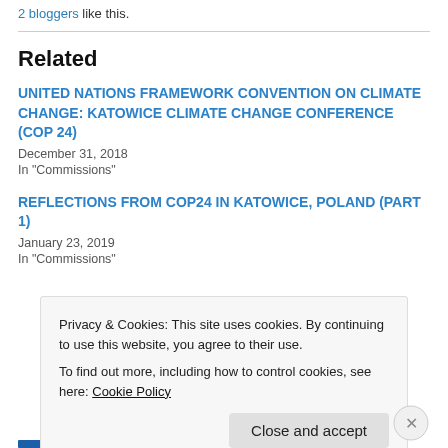2 bloggers like this.
Related
UNITED NATIONS FRAMEWORK CONVENTION ON CLIMATE CHANGE: KATOWICE CLIMATE CHANGE CONFERENCE (COP 24)
December 31, 2018
In "Commissions"
REFLECTIONS FROM COP24 IN KATOWICE, POLAND (PART 1)
January 23, 2019
In "Commissions"
Privacy & Cookies: This site uses cookies. By continuing to use this website, you agree to their use.
To find out more, including how to control cookies, see here: Cookie Policy